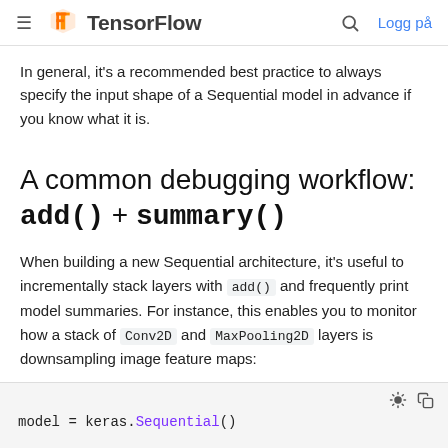TensorFlow — Logg på
In general, it's a recommended best practice to always specify the input shape of a Sequential model in advance if you know what it is.
A common debugging workflow: add() + summary()
When building a new Sequential architecture, it's useful to incrementally stack layers with add() and frequently print model summaries. For instance, this enables you to monitor how a stack of Conv2D and MaxPooling2D layers is downsampling image feature maps:
model = keras.Sequential()